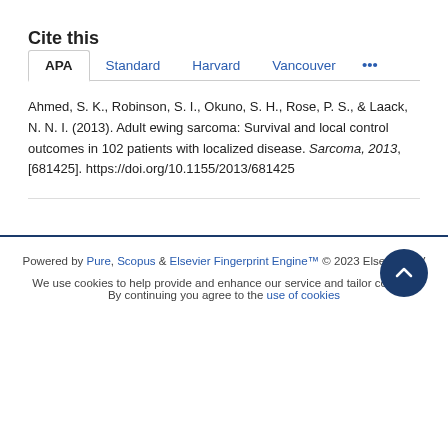Cite this
APA | Standard | Harvard | Vancouver | ...
Ahmed, S. K., Robinson, S. I., Okuno, S. H., Rose, P. S., & Laack, N. N. I. (2013). Adult ewing sarcoma: Survival and local control outcomes in 102 patients with localized disease. Sarcoma, 2013, [681425]. https://doi.org/10.1155/2013/681425
Powered by Pure, Scopus & Elsevier Fingerprint Engine™ © 2023 Elsevier B.V
We use cookies to help provide and enhance our service and tailor content.
By continuing you agree to the use of cookies